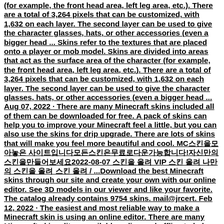(for example, the front head area, left leg area, etc.). There are a total of 3,264 pixels that can be customized, with 1,632 on each layer. The second layer can be used to give the character glasses, hats, or other accessories (even a bigger head ... Skins refer to the textures that are placed onto a player or mob model. Skins are divided into areas that act as the surface area of the character (for example, the front head area, left leg area, etc.). There are a total of 3,264 pixels that can be customized, with 1,632 on each layer. The second layer can be used to give the character glasses, hats, or other accessories (even a bigger head ... Aug 07, 2022 · There are many Minecraft skins included all of them can be downloaded for free. A pack of skins can help you to improve your Minecraft feel a little, but you can also use the skins for drip upgrade. There are lots of skins that will make you feel more beautiful and cool. MC스킨을모아놓은 사이트입니다모든스킨은무료로다운가능합니다!자신만의스킨을만들어보세요2022-08-07 스킨을 올려 VIP 스킨 올려 나만의 스킨을 올려 스킨 올려 / ...Download the best Minecraft skins through our site and create your own with our online editor. See 3D models in our viewer and like your favorite. The catalog already contains 9754 skins. mail@jrcert. Feb 12, 2022 · The easiest and most reliable way to make a Minecraft skin is using an online editor. There are many Minecraft skin editors available online and offline to help you with this task. The most popular Minecraft skin editor is from Skindex. So let's learn how it works. 1. Open the Minecraft skin editor on Skindex . I will use a blank